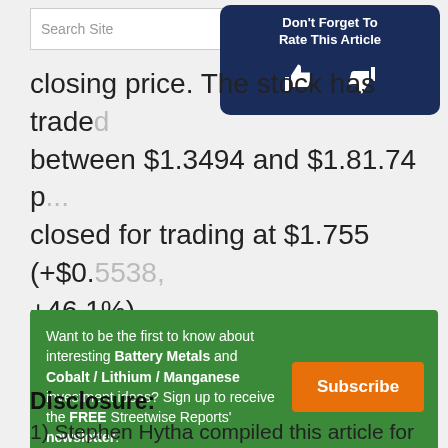closing price. The stock has traded between $1.3494 and $1.81.74 p... closed for trading at $1.755 (+$0.5538, +46.1%).
[Figure (other): Don't Forget To Rate This Article with thumbs up and thumbs down icons on a dark blue rounded rectangle]
[Figure (infographic): Green subscription banner: Want to be the first to know about interesting Battery Metals and Cobalt / Lithium / Manganese investment ideas? Sign up to receive the FREE Streetwise Reports' newsletter. With orange Subscribe button.]
Disclosure:
1) Stephen Hytha compiled this article for Streetwise Reports LLC and provides services to Streetwise Reports as an independent